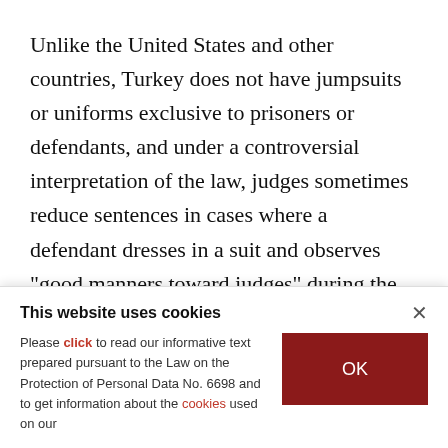Unlike the United States and other countries, Turkey does not have jumpsuits or uniforms exclusive to prisoners or defendants, and under a controversial interpretation of the law, judges sometimes reduce sentences in cases where a defendant dresses in a suit and observes "good manners toward judges" during the hearings.
Authorities have detained and arrested tens of thousands during the...
This website uses cookies
Please click to read our informative text prepared pursuant to the Law on the Protection of Personal Data No. 6698 and to get information about the cookies used on our